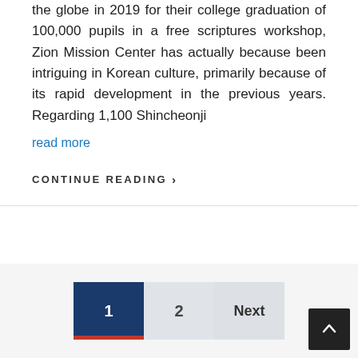the globe in 2019 for their college graduation of 100,000 pupils in a free scriptures workshop, Zion Mission Center has actually because been intriguing in Korean culture, primarily because of its rapid development in the previous years. Regarding 1,100 Shincheonji
read more
CONTINUE READING ›
1  2  Next